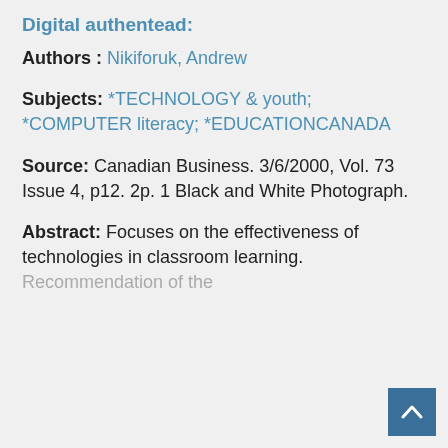Digital authentead:
Authors : Nikiforuk, Andrew
Subjects: *TECHNOLOGY & youth; *COMPUTER literacy; *EDUCATIONCANADA
Source: Canadian Business. 3/6/2000, Vol. 73 Issue 4, p12. 2p. 1 Black and White Photograph.
Abstract: Focuses on the effectiveness of technologies in classroom learning. Recommendation of the